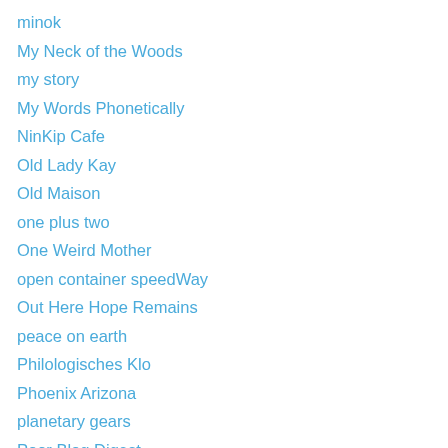minok
My Neck of the Woods
my story
My Words Phonetically
NinKip Cafe
Old Lady Kay
Old Maison
one plus two
One Weird Mother
open container speedWay
Out Here Hope Remains
peace on earth
Philologisches Klo
Phoenix Arizona
planetary gears
Poor Blog Digest
PovNet
purple gables
Relentlessly Progressive Economics
remarkk!